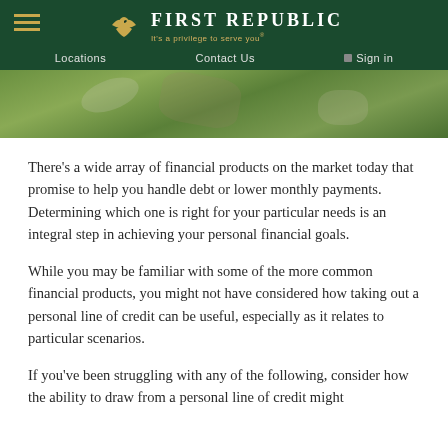First Republic — It's a privilege to serve you®  |  Locations  Contact Us  Sign in
[Figure (photo): Outdoor scene showing people gardening or working in a green garden area, viewed from above]
There's a wide array of financial products on the market today that promise to help you handle debt or lower monthly payments. Determining which one is right for your particular needs is an integral step in achieving your personal financial goals.
While you may be familiar with some of the more common financial products, you might not have considered how taking out a personal line of credit can be useful, especially as it relates to particular scenarios.
If you've been struggling with any of the following, consider how the ability to draw from a personal line of credit might